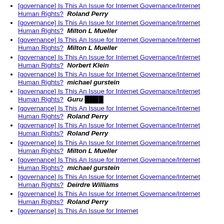[governance] Is This An Issue for Internet Governance/Internet Human Rights?  Roland Perry
[governance] Is This An Issue for Internet Governance/Internet Human Rights?  Milton L Mueller
[governance] Is This An Issue for Internet Governance/Internet Human Rights?  Milton L Mueller
[governance] Is This An Issue for Internet Governance/Internet Human Rights?  Norbert Klein
[governance] Is This An Issue for Internet Governance/Internet Human Rights?  michael gurstein
[governance] Is This An Issue for Internet Governance/Internet Human Rights?  Guru ████
[governance] Is This An Issue for Internet Governance/Internet Human Rights?  Roland Perry
[governance] Is This An Issue for Internet Governance/Internet Human Rights?  Roland Perry
[governance] Is This An Issue for Internet Governance/Internet Human Rights?  Milton L Mueller
[governance] Is This An Issue for Internet Governance/Internet Human Rights?  michael gurstein
[governance] Is This An Issue for Internet Governance/Internet Human Rights?  Deirdre Williams
[governance] Is This An Issue for Internet Governance/Internet Human Rights?  Roland Perry
[governance] Is This An Issue for Internet Governance/Internet Human Rights?